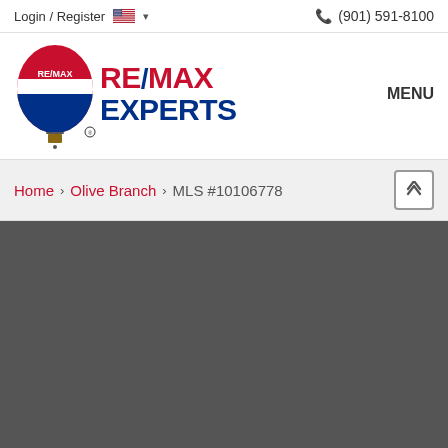Login / Register  (901) 591-8100
[Figure (logo): RE/MAX Experts logo with hot air balloon icon and RE/MAX Experts text in red and blue]
MENU
Home > Olive Branch > MLS #10106778
[Figure (photo): Dark gray area representing a property image placeholder]